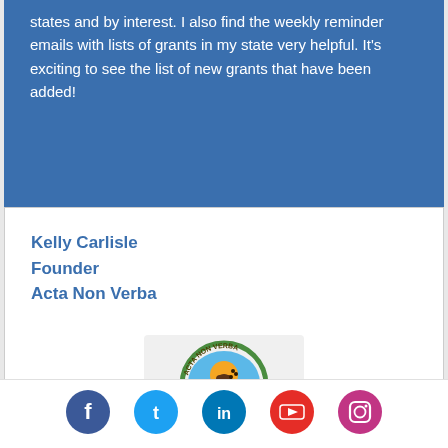states and by interest. I also find the weekly reminder emails with lists of grants in my state very helpful. It's exciting to see the list of new grants that have been added!
Kelly Carlisle
Founder
Acta Non Verba
[Figure (logo): Acta Non Verba circular logo with a hand, sun, and farming imagery]
[Figure (logo): Social media icons row: Facebook, Twitter, LinkedIn, YouTube, Instagram]